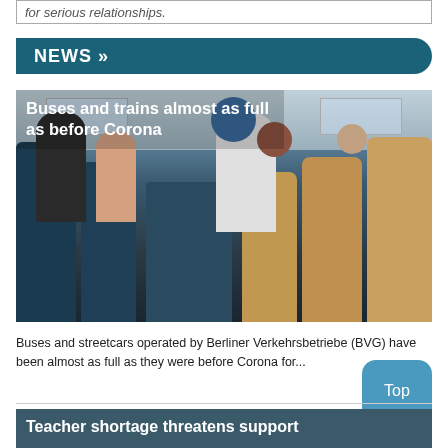for serious relationships.
NEWS »
[Figure (photo): Interior of a bus or train with passengers seated in blue and tan seats, viewed from behind. People of various appearances are seated facing forward.]
Buses and trains almost as full as before Corona
Buses and streetcars operated by Berliner Verkehrsbetriebe (BVG) have been almost as full as they were before Corona for...
Teacher shortage threatens support